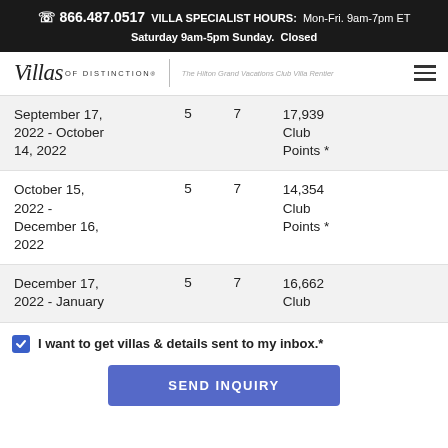☎ 866.487.0517  VILLA SPECIALIST HOURS:  Mon-Fri. 9am-7pm ET
Saturday 9am-5pm Sunday.  Closed
[Figure (logo): Villas of Distinction logo with tagline 'The Hilton Grand Vacations Club Villa Rentier' and hamburger menu icon]
| Date Range | Bedrooms | Nights | Price |
| --- | --- | --- | --- |
| September 17, 2022 - October 14, 2022 | 5 | 7 | 17,939 Club Points * |
| October 15, 2022 - December 16, 2022 | 5 | 7 | 14,354 Club Points * |
| December 17, 2022 - January ... | 5 | 7 | 16,662 Club... |
I want to get villas & details sent to my inbox.*